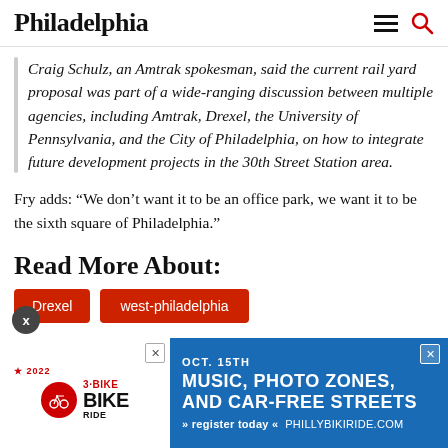Philadelphia
Craig Schulz, an Amtrak spokesman, said the current rail yard proposal was part of a wide-ranging discussion between multiple agencies, including Amtrak, Drexel, the University of Pennsylvania, and the City of Philadelphia, on how to integrate future development projects in the 30th Street Station area.
Fry adds: “We don’t want it to be an office park, we want it to be the sixth square of Philadelphia.”
Read More About:
Drexel
west-philadelphia
[Figure (other): Advertisement banner for 2022 Bike Ride event: OCT. 15TH MUSIC, PHOTO ZONES, AND CAR-FREE STREETS. Register today at phillybikiride.com]